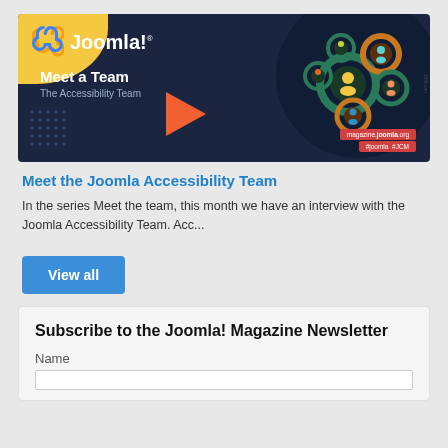[Figure (illustration): Joomla! Meet a Team – The Accessibility Team promotional banner with dark navy background, Joomla logo top-left, interconnected gears with people icons on right side, orange triangle, red bottom bar with magazine.joomla.org and #joomla #JCM text]
Meet the Joomla Accessibility Team
In the series Meet the team, this month we have an interview with the Joomla Accessibility Team. Acc...
View all
Subscribe to the Joomla! Magazine Newsletter
Name